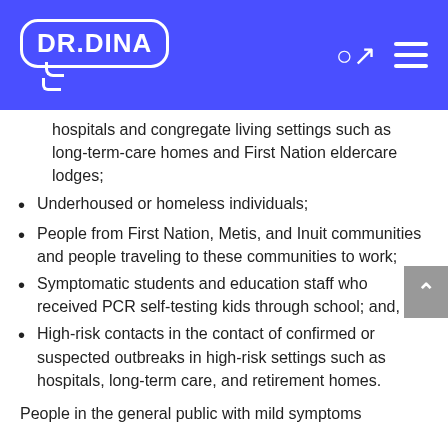DR.DINA
hospitals and congregate living settings such as long-term-care homes and First Nation eldercare lodges;
Underhoused or homeless individuals;
People from First Nation, Metis, and Inuit communities and people traveling to these communities to work;
Symptomatic students and education staff who received PCR self-testing kids through school; and,
High-risk contacts in the contact of confirmed or suspected outbreaks in high-risk settings such as hospitals, long-term care, and retirement homes.
People in the general public with mild symptoms